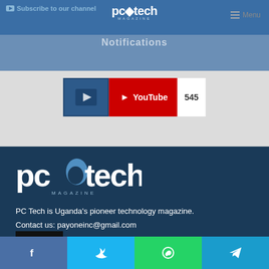Subscribe to our channel
[Figure (screenshot): PC Tech Magazine website header with logo and Menu button, YouTube subscribe widget showing 545 subscribers]
[Figure (logo): PC Tech Magazine logo in white on dark blue footer background]
PC Tech is Uganda's pioneer technology magazine.
Contact us: payoneinc@gmail.com
Social
[Figure (infographic): Social media icon buttons: RSS (orange), Facebook (purple), Twitter (light blue), YouTube (red), Instagram (pink/purple), Telegram (blue)]
Share buttons: Facebook, Twitter, WhatsApp, Telegram